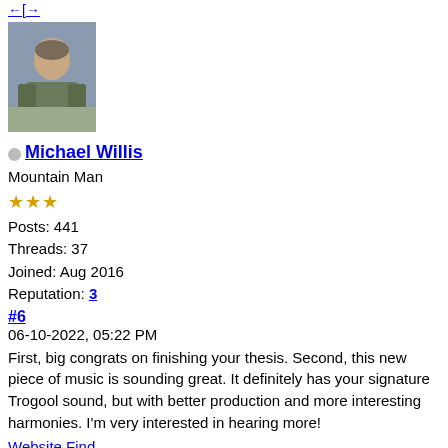←[→
[Figure (photo): Avatar photo of Michael Willis - person sitting outdoors with backpack gear]
Michael Willis
Mountain Man
★★★
Posts: 441
Threads: 37
Joined: Aug 2016
Reputation: 3
#6
06-10-2022, 05:22 PM
First, big congrats on finishing your thesis. Second, this new piece of music is sounding great. It definitely has your signature Trogool sound, but with better production and more interesting harmonies. I'm very interested in hearing more!
Website Find
Reply
[Figure (photo): Avatar photo of Nayrb - man with sunglasses outdoors]
Nayrb
Yuggothian Fungus